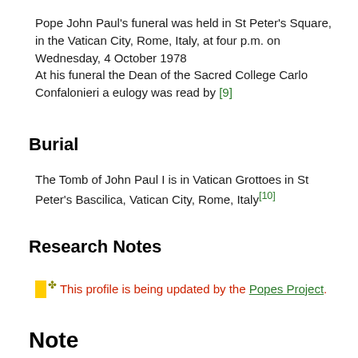Pope John Paul's funeral was held in St Peter's Square, in the Vatican City, Rome, Italy, at four p.m. on Wednesday, 4 October 1978
At his funeral the Dean of the Sacred College Carlo Confalonieri a eulogy was read by [9]
Burial
The Tomb of John Paul I is in Vatican Grottoes in St Peter's Bascilica, Vatican City, Rome, Italy[10]
Research Notes
This profile is being updated by the Popes Project.
Note